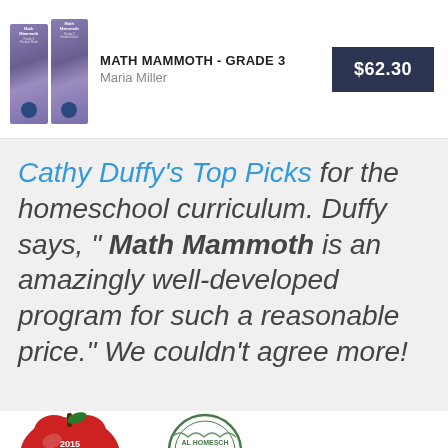[Figure (photo): Two Math Mammoth Grade 3 book covers side by side]
MATH MAMMOTH - GRADE 3
Maria Miller
$62.30
Cathy Duffy's Top Picks for the homeschool curriculum. Duffy says, " Math Mammoth is an amazingly well-developed program for such a reasonable price." We couldn't agree more!
[Figure (illustration): Red apple badge with '2015 One Of' text]
[Figure (illustration): Classical Homeschool circular badge/seal]